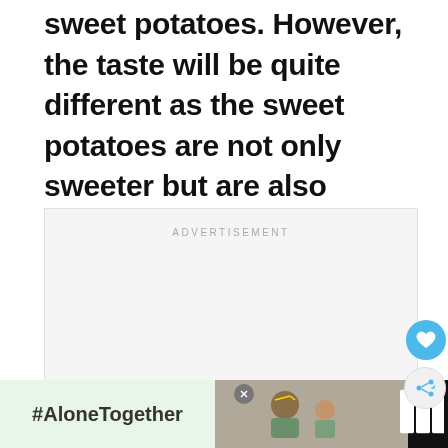You can bake both regular potatoes and sweet potatoes. However, the taste will be quite different as the sweet potatoes are not only sweeter but are also more creamy.
[Figure (other): Advertisement placeholder box with 'ADVERTISEMENT' label and three small gray square dots at the bottom center]
[Figure (other): Footer advertisement banner with black background, green box showing '#AloneTogether' hashtag text, a photo of a man and child waving, a close button, and a logo mark]